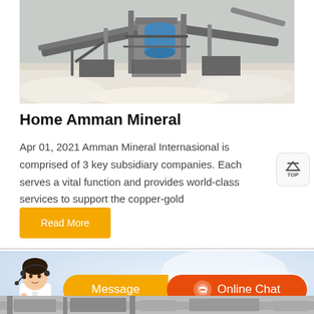[Figure (photo): Aerial/overhead view of a mining processing facility with conveyor belts, machinery, metal structures, and white mineral/rock material scattered around]
Home Amman Mineral
Apr 01, 2021 Amman Mineral Internasional is comprised of 3 key subsidiary companies. Each serves a vital function and provides world-class services to support the copper-gold
Read More
[Figure (infographic): Orange and red chat bar with customer service agent photo, Message button and Online Chat button with headset icon]
[Figure (photo): Bottom strip showing mining equipment/conveyor belt machinery]